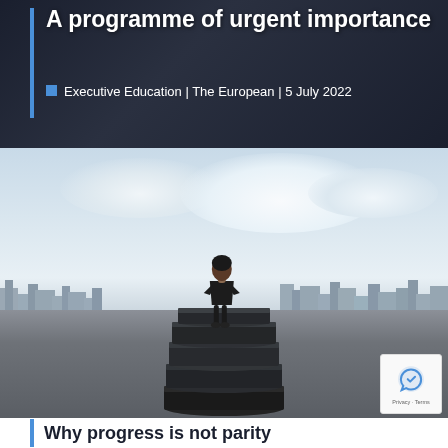A programme of urgent importance
Executive Education | The European | 5 July 2022
[Figure (photo): Woman in black dress standing on a tall stack of books against a cityscape with clouds in the background]
Why progress is not parity